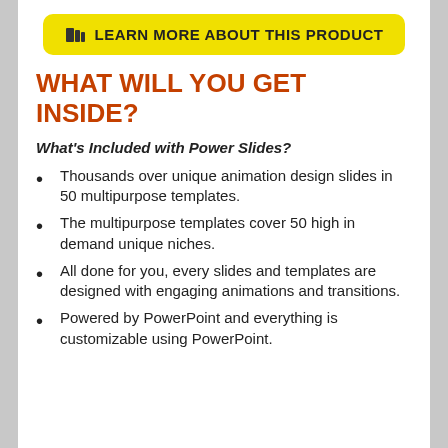[Figure (other): Yellow rounded rectangle button with book icon and text LEARN MORE ABOUT THIS PRODUCT]
WHAT WILL YOU GET INSIDE?
What's Included with Power Slides?
Thousands over unique animation design slides in 50 multipurpose templates.
The multipurpose templates cover 50 high in demand unique niches.
All done for you, every slides and templates are designed with engaging animations and transitions.
Powered by PowerPoint and everything is customizable using PowerPoint.